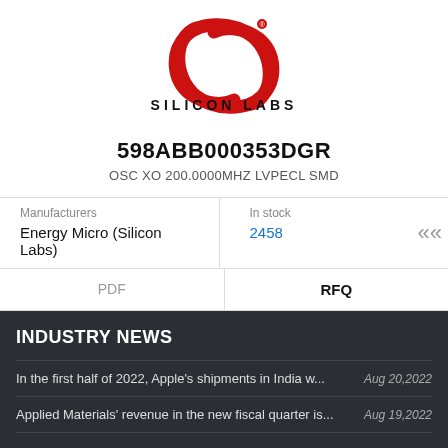[Figure (logo): Silicon Labs logo — red stylized S swirl above bold text SILICON LABS]
598ABB000353DGR
OSC XO 200.0000MHZ LVPECL SMD
| Manufacturers | In stock |
| --- | --- |
| Energy Micro (Silicon Labs) | 2458 |
PDF
RFQ
INDUSTRY NEWS
In the first half of 2022, Apple's shipments in India w...   Aug 20,2022
Applied Materials' revenue in the new fiscal quarter is...   Aug 19,2022